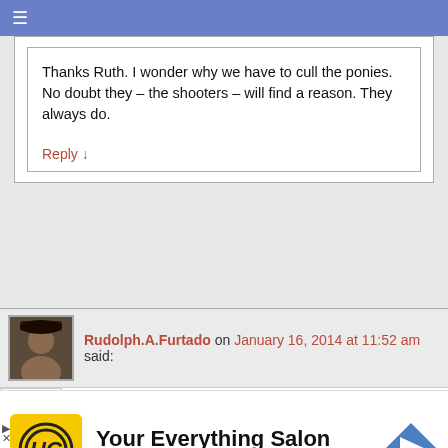≡
Thanks Ruth. I wonder why we have to cull the ponies. No doubt they – the shooters – will find a reason. They always do.
Reply ↓
Rudolph.A.Furtado on January 16, 2014 at 11:52 am said:
Any "NON-VEGETARIAN" has no right to complain about the slaughter of pet animals for human consumption. Isn't a pig one of the most intelligent animals, more intelligent than the age dog ?Science has proved pigs to be very intelligent.
[Figure (infographic): Advertisement for Hair Cuttery salon with logo, text 'Your Everything Salon', 'Hair Cuttery', navigation arrow icon]